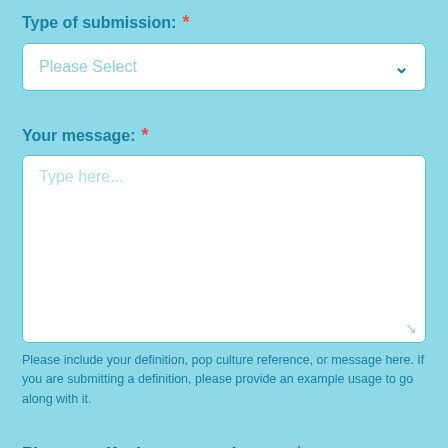Type of submission: *
[Figure (other): Dropdown select input box with placeholder 'Please Select' and chevron icon]
Your message: *
[Figure (other): Text area input box with placeholder 'Type here...' and resize handle]
Please include your definition, pop culture reference, or message here. If you are submitting a definition, please provide an example usage to go along with it.
Please verify that you are human *